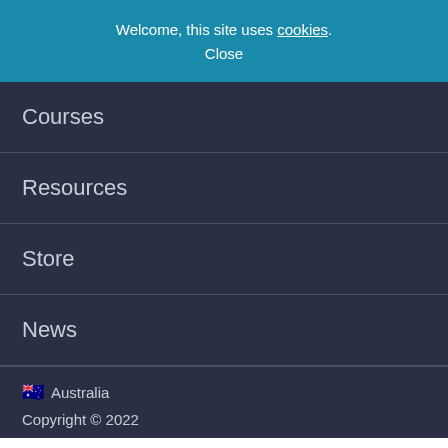Welcome, this site uses cookies. Close
Courses
Resources
Store
News
🇦🇺 Australia
Copyright © 2022